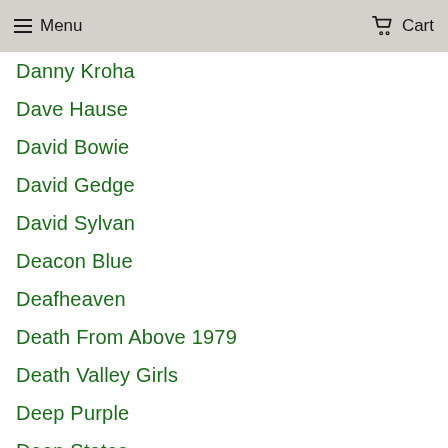Menu  Cart
Danny Kroha
Dave Hause
David Bowie
David Gedge
David Sylvan
Deacon Blue
Deafheaven
Death From Above 1979
Death Valley Girls
Deep Purple
Deep States
Deep Wound
Deerhoof
Def Leppard